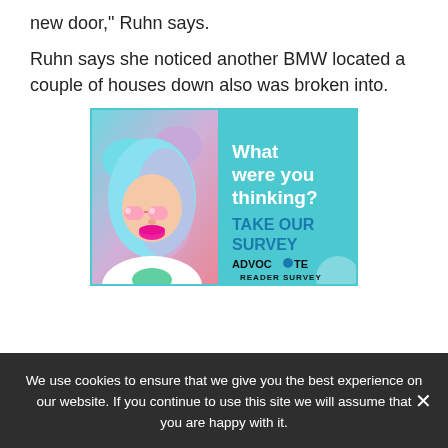new door," Ruhn says.
Ruhn says she noticed another BMW located a couple of houses down also was broken into.
[Figure (infographic): Advertisement for Advocate Reader Survey featuring a stylized young woman with blue and pink hair, sunglasses, and pink lips. Text reads: 'What were you thinking? TAKE OUR SURVEY – ADVOCATE READER SURVEY']
We use cookies to ensure that we give you the best experience on our website. If you continue to use this site we will assume that you are happy with it.